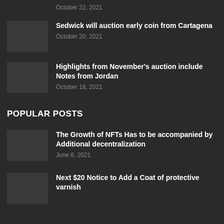October 22, 2021
Sedwick will auction early coin from Cartagena
October 20, 2021
Highlights from November's auction include Notes from Jordan
October 18, 2021
POPULAR POSTS
The Growth of NFTs Has to be accompanied by Additional decentralization
June 6, 2021
Next $20 Notice to Add a Coat of protective varnish